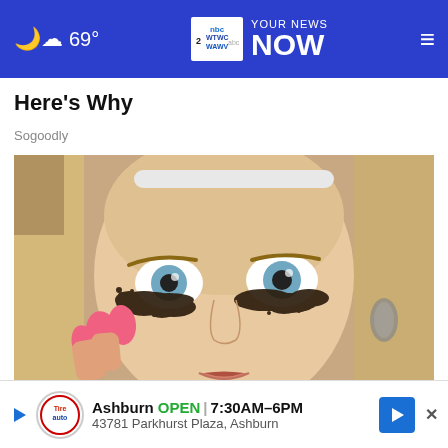69° YOUR NEWS NOW
Here's Why
Sogoodly
[Figure (photo): Close-up photo of a blonde woman with dramatic dark coffee-ground eye makeup/eyelashes, blue eyes, pink nails touching her cheek, wearing a teardrop earring, mouth slightly open.]
Doctors Warn Women To Stop Using Tea Bags On Their Eyes — Here's Why
Ashburn OPEN 7:30AM–6PM 43781 Parkhurst Plaza, Ashburn